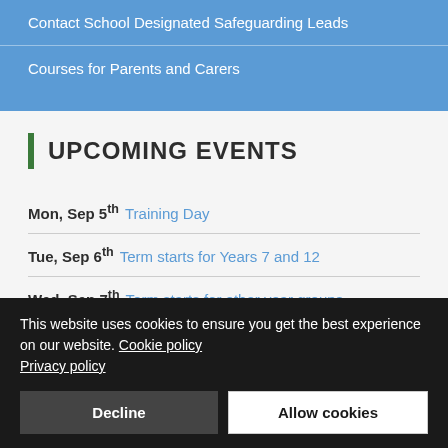Contact School Designated Safeguarding Leads
Courses for Parents and Carers
UPCOMING EVENTS
Mon, Sep 5th Training Day
Tue, Sep 6th Term starts for Years 7 and 12
Wed, Sep 7th Term starts for other year groups
Fri, Sep 9th History trip to Westminster Palace
This website uses cookies to ensure you get the best experience on our website. Cookie policy Privacy policy
Decline | Allow cookies